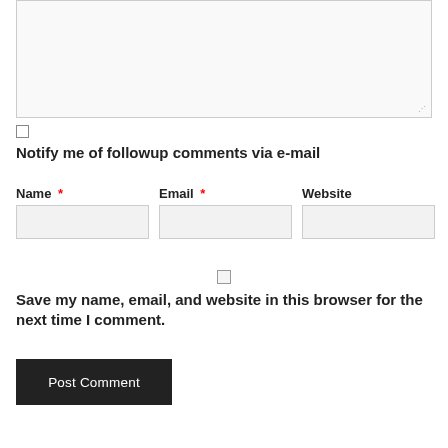[Figure (screenshot): Textarea input box for comment, with resize handle in bottom-right corner]
[Figure (screenshot): Checkbox (unchecked) for notify me of followup comments]
Notify me of followup comments via e-mail
Name *
Email *
Website
[Figure (screenshot): Three input fields: Name, Email, Website]
[Figure (screenshot): Checkbox (unchecked) for save my name, email, and website]
Save my name, email, and website in this browser for the next time I comment.
Post Comment